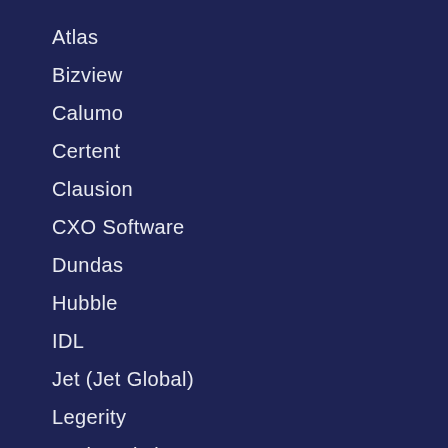Atlas
Bizview
Calumo
Certent
Clausion
CXO Software
Dundas
Hubble
IDL
Jet (Jet Global)
Legerity
Logi Analytics
Longview
Magnitude
Mekko Graphics